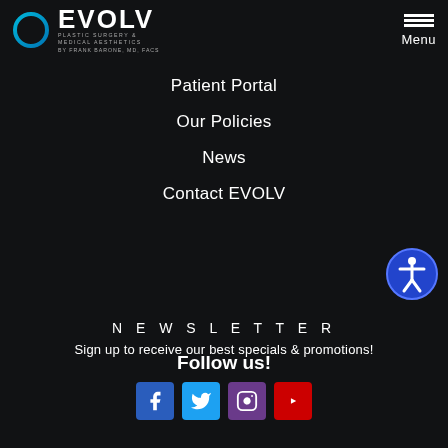[Figure (logo): EVOLV Plastic Surgery & Medical Aesthetics by Frank Barone, MD, FACS logo with teal ring circle graphic]
Patient Portal
Our Policies
News
Contact EVOLV
[Figure (illustration): Blue circular accessibility button with wheelchair icon]
NEWSLETTER
Sign up to receive our best specials & promotions!
Follow us!
[Figure (illustration): Social media icons: Facebook, Twitter, Instagram, YouTube]